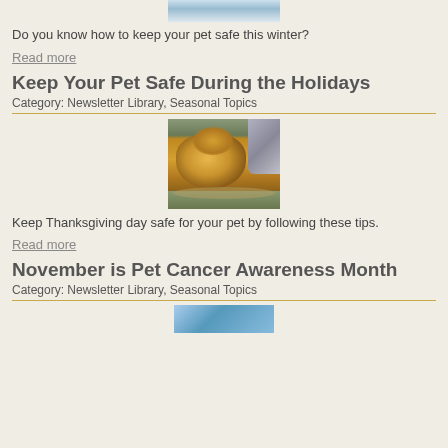[Figure (photo): Partial image of a pet in winter/snowy setting at top of page]
Do you know how to keep your pet safe this winter?
Read more
Keep Your Pet Safe During the Holidays
Category: Newsletter Library, Seasonal Topics
[Figure (photo): A roasted turkey on a platter with a dog looking at it from behind]
Keep Thanksgiving day safe for your pet by following these tips.
Read more
November is Pet Cancer Awareness Month
Category: Newsletter Library, Seasonal Topics
[Figure (photo): Partial image at bottom, appears to show veterinary/medical setting with blue gloves]